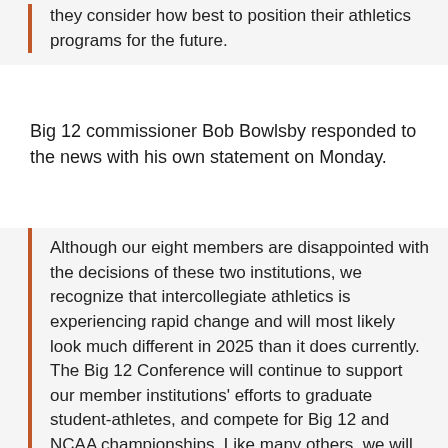they consider how best to position their athletics programs for the future.
Big 12 commissioner Bob Bowlsby responded to the news with his own statement on Monday.
Although our eight members are disappointed with the decisions of these two institutions, we recognize that intercollegiate athletics is experiencing rapid change and will most likely look much different in 2025 than it does currently. The Big 12 Conference will continue to support our member institutions' efforts to graduate student-athletes, and compete for Big 12 and NCAA championships. Like many others, we will use the next four years to fully assess what the landscape will look like in 2025 and beyond. The remaining eight institutions will work together in a collaborative manner to thoughtfully and strategically